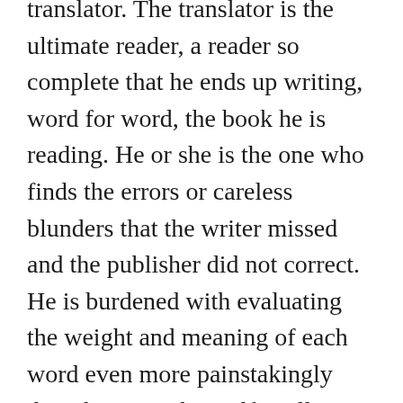translator.  The translator is the ultimate reader, a reader so complete that he ends up writing, word for word, the book he is reading.  He or she is the one who finds the errors or careless blunders that the writer missed and the publisher did not correct.  He is burdened with evaluating the weight and meaning of each word even more painstakingly than the writer himself.  Willi Zurbruggen used a musical term to describe his work:  what most closely approaches a translation, especially between such disparate languages as Spanish and German, is the transcription of a musical score.